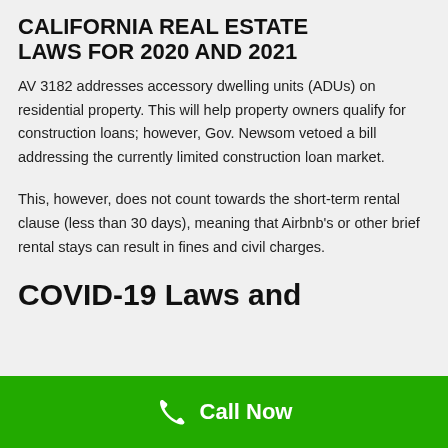CALIFORNIA REAL ESTATE LAWS FOR 2020 AND 2021
AV 3182 addresses accessory dwelling units (ADUs) on residential property. This will help property owners qualify for construction loans; however, Gov. Newsom vetoed a bill addressing the currently limited construction loan market.
This, however, does not count towards the short-term rental clause (less than 30 days), meaning that Airbnb's or other brief rental stays can result in fines and civil charges.
COVID-19 Laws and
Call Now